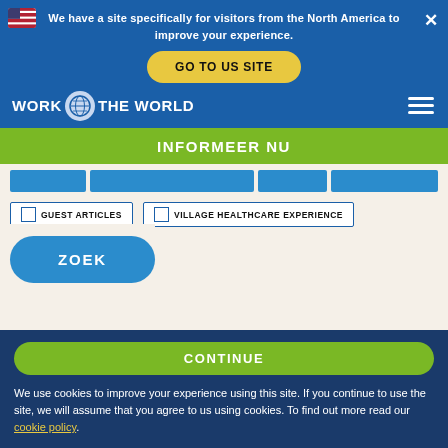We have a site specifically for visitors from the North America to improve your experience.
GO TO US SITE
INFORMEER NU
GUEST ARTICLES
VILLAGE HEALTHCARE EXPERIENCE
ZOEK
RELATED BLOG POSTS
CONTINUE
We use cookies to improve your experience using this site. If you continue to use the site, we will assume that you agree to us using cookies. To find out more read our cookie policy.